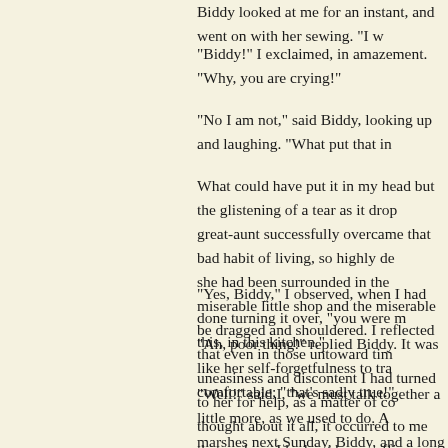Biddy looked at me for an instant, and went on with her sewing. "I w
"Biddy!" I exclaimed, in amazement. "Why, you are crying!"
"No I am not," said Biddy, looking up and laughing. "What put that in
What could have put it in my head but the glistening of a tear as it drop great-aunt successfully overcame that bad habit of living, so highly de she had been surrounded in the miserable little shop and the miserable be dragged and shouldered. I reflected that even in those untoward tim uneasiness and discontent I had turned to her for help, as a matter of co thought about it all, it occurred to me that perhaps I had not been suffi her more (though I did not use that precise word in my meditations) w
"Yes, Biddy," I observed, when I had done turning it over, "you were m this, in this kitchen."
"Ah, poor thing!" replied Biddy. It was like her self-forgetfulness to tra comfortable; "that's sadly true!"
"Well!" said I, "we must talk together a little more, as we used to do. A marshes next Sunday, Biddy, and a long chat."
My sister was never left alone now; but Joe more than readily undertoo summer-time, and lovely weather. When we had passed the village and of the ships as they sailed on, I began to combine Miss Havisham and down on the bank, with the water rippling at our feet, making it all mo